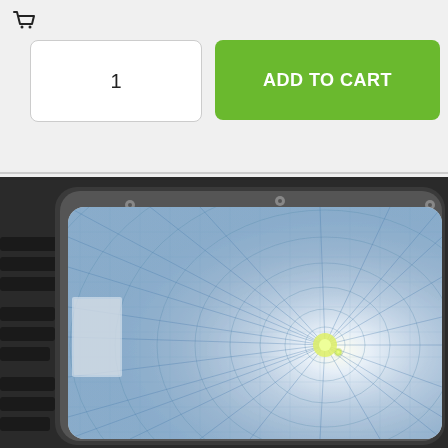[Figure (screenshot): E-commerce UI showing a quantity input box with value '1' and a green 'ADD TO CART' button]
[Figure (photo): Close-up photo of an LED canopy light fixture with a dark housing, showing the clear prismatic lens with radiating concentric grid pattern and a bright LED emitter in the center. The fixture has cooling fins visible on the left side.]